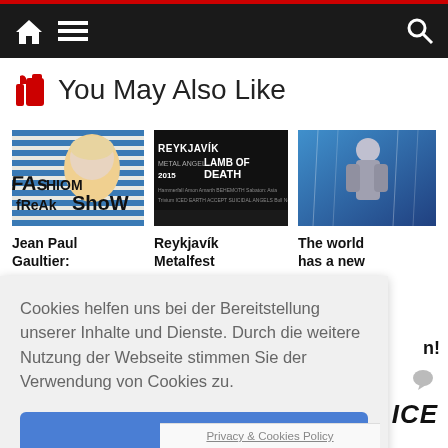Navigation bar with home, menu, and search icons
You May Also Like
[Figure (photo): Jean Paul Gaultier Fashion Freak Show promotional image with stylized face]
Jean Paul Gaultier:
[Figure (photo): Reykjavík Metalfest 2015 promotional poster with band logos]
Reykjavík Metalfest
[Figure (photo): Concert performer photo with blue lighting]
The world has a new
Cookies helfen uns bei der Bereitstellung unserer Inhalte und Dienste. Durch die weitere Nutzung der Webseite stimmen Sie der Verwendung von Cookies zu.
Okay!
Privacy & Cookies Policy